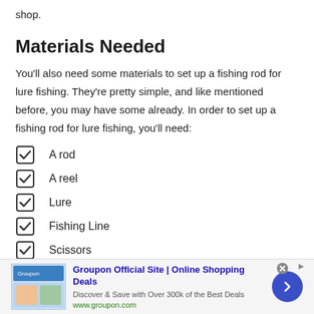shop.
Materials Needed
You’ll also need some materials to set up a fishing rod for lure fishing. They’re pretty simple, and like mentioned before, you may have some already. In order to set up a fishing rod for lure fishing, you’ll need:
A rod
A reel
Lure
Fishing Line
Scissors
[Figure (screenshot): Groupon advertisement banner at bottom of page: 'Groupon Official Site | Online Shopping Deals - Discover & Save with Over 300k of the Best Deals - www.groupon.com' with close button, navigation arrow, and ad images.]